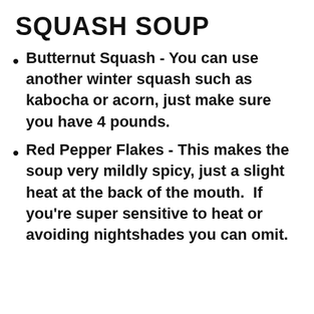SQUASH SOUP
Butternut Squash - You can use another winter squash such as kabocha or acorn, just make sure you have 4 pounds.
Red Pepper Flakes - This makes the soup very mildly spicy, just a slight heat at the back of the mouth.  If you're super sensitive to heat or avoiding nightshades you can omit.